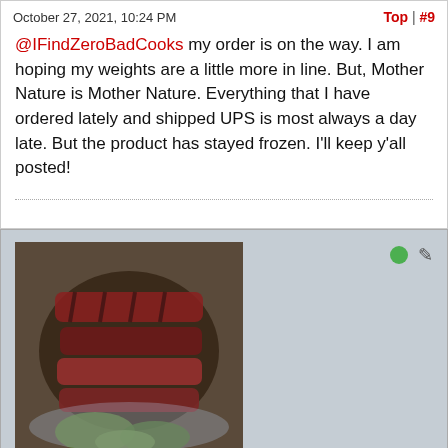October 27, 2021, 10:24 PM
Top | #9
@IFindZeroBadCooks my order is on the way. I am hoping my weights are a little more in line. But, Mother Nature is Mother Nature. Everything that I have ordered lately and shipped UPS is most always a day late. But the product has stayed frozen. I'll keep y'all posted!
[Figure (photo): Profile avatar showing sliced grilled meat on a plate with vegetables]
glitchy
Club Member
Joined: Jul 2019   Posts: 1941   Location: Central IA
October 27, 2021, 11:09 PM
Top | #10
As one that orders a fair amount of meat online, I immediately